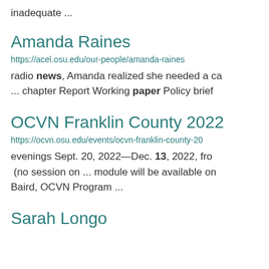inadequate ...
Amanda Raines
https://acel.osu.edu/our-people/amanda-raines
radio news, Amanda realized she needed a ca... chapter Report Working paper Policy brief
OCVN Franklin County 2022
https://ocvn.osu.edu/events/ocvn-franklin-county-20
evenings Sept. 20, 2022—Dec. 13, 2022, fro (no session on ... module will be available on Baird, OCVN Program ...
Sarah Longo